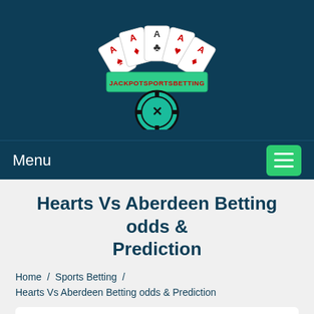[Figure (logo): JackpotSportsBetting logo with playing cards fanned out above a banner reading JACKPOTSPORTSBETTING and a casino chip below]
Menu
Hearts Vs Aberdeen Betting odds & Prediction
Home / Sports Betting / Hearts Vs Aberdeen Betting odds & Prediction
Categories
Casino Slots